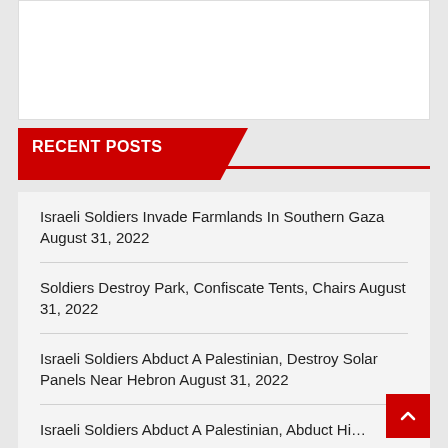[Figure (other): White advertisement/image box at top of page]
RECENT POSTS
Israeli Soldiers Invade Farmlands In Southern Gaza August 31, 2022
Soldiers Destroy Park, Confiscate Tents, Chairs August 31, 2022
Israeli Soldiers Abduct A Palestinian, Destroy Solar Panels Near Hebron August 31, 2022
Israeli Soldiers Abduct A Palestinian, Abduct Hi...